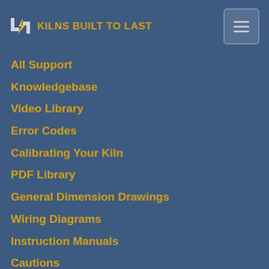KILNS BUILT TO LAST
All Support
Knowledgebase
Video Library
Error Codes
Calibrating Your Kiln
PDF Library
General Dimension Drawings
Wiring Diagrams
Instruction Manuals
Cautions
Installation Questions
Electricity for Kilns